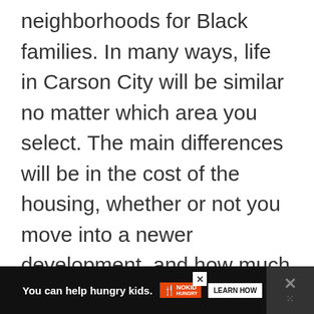neighborhoods for Black families. In many ways, life in Carson City will be similar no matter which area you select. The main differences will be in the cost of the housing, whether or not you move into a newer development, and how much shopping and nature are around you.
The further out you go, the higher the prices of houses tend to be and the more scenery you will have.
[Figure (other): Advertisement banner: black background with orange 'No Kid Hungry' logo. Text reads 'You can help hungry kids.' with a 'LEARN HOW' button. Close button shown. Right panel has dark background with X icon.]